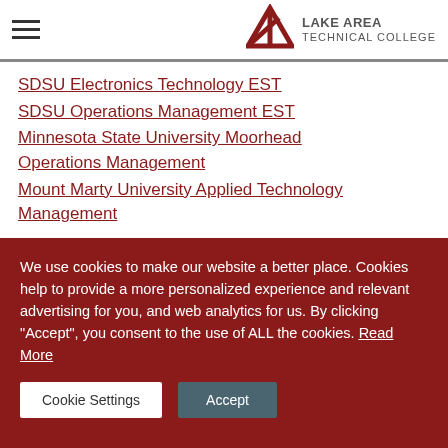Lake Area Technical College
SDSU Electronics Technology EST
SDSU Operations Management EST
Minnesota State University Moorhead Operations Management
Mount Marty University Applied Technology Management
Resources
We use cookies to make our website a better place. Cookies help to provide a more personalized experience and relevant advertising for you, and web analytics for us. By clicking "Accept", you consent to the use of ALL the cookies. Read More
Cookie Settings | Accept